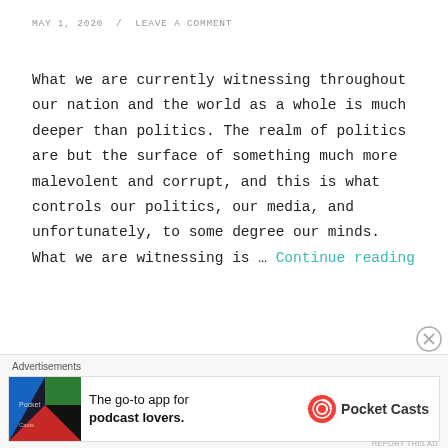MAY 1, 2020  /  LEAVE A COMMENT
What we are currently witnessing throughout our nation and the world as a whole is much deeper than politics. The realm of politics are but the surface of something much more malevolent and corrupt, and this is what controls our politics, our media, and unfortunately, to some degree our minds. What we are witnessing is … Continue reading
[Figure (other): Advertisement banner for Pocket Casts podcast app]
REPORT THIS AD